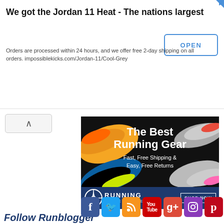[Figure (screenshot): Top banner advertisement for Jordan 11 Heat shoes. Text: 'We got the Jordan 11 Heat - The nations largest'. Body text: 'Orders are processed within 24 hours, and we offer free 2-day shipping on all orders. impossiblekicks.com/Jordan-11/Cool-Grey'. OPEN button on right.]
[Figure (photo): Running Warehouse advertisement banner showing multiple running shoes on dark background with text 'The Best Running Gear', 'Fast, Free Shipping & Easy, Free Returns', and 'RUNNING WAREHOUSE' logo with 'SHOP NOW' button.]
Follow Runblogger
[Figure (infographic): Social media icons row: Facebook, Twitter, RSS, YouTube, Google+, Instagram, Pinterest]